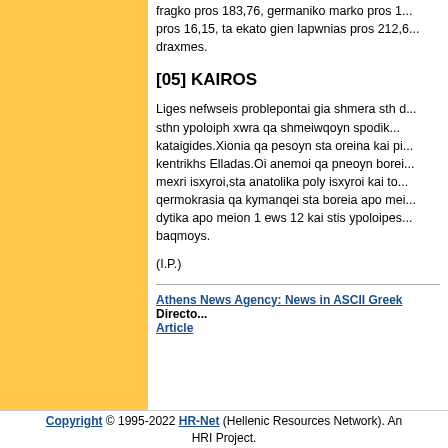fragko pros 183,76, germaniko marko pros 1... pros 16,15, ta ekato gien Iapwnias pros 212,6... draxmes.
[05] KAIROS
Liges nefwseis problepontai gia shmera sth d... sthn ypoloiph xwra qa shmeiwqoyn spodik... kataigides.Xionia qa pesoyn sta oreina kai pi... kentrikhs Elladas.Oi anemoi qa pneoyn borei... mexri isxyroi,sta anatolika poly isxyroi kai to... qermokrasia qa kymanqei sta boreia apo mei... dytika apo meion 1 ews 12 kai stis ypoloipes... baqmoys.
(I.P.)
Athens News Agency: News in ASCII Greek Directory Article
Copyright © 1995-2022 HR-Net (Hellenic Resources Network). An HRI Project.